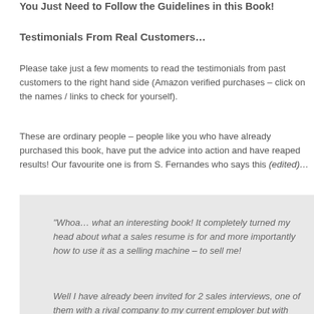You Just Need to Follow the Guidelines in this Book!
Testimonials From Real Customers…
Please take just a few moments to read the testimonials from past customers to the right hand side (Amazon verified purchases – click on the names / links to check for yourself).
These are ordinary people – people like you who have already purchased this book, have put the advice into action and have reaped results! Our favourite one is from S. Fernandes who says this (edited)…
“Whoa… what an interesting book! It completely turned my head about what a sales resume is for and more importantly how to use it as a selling machine – to sell me!

Well I have already been invited for 2 sales interviews, one of them with a rival company to my current employer but with much better package.”

S. Fernandes
There is absolutely no reason that you cannot be leaving similar testimonials…